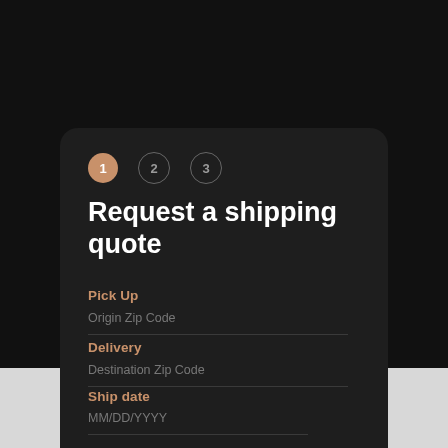[Figure (screenshot): Step indicator with 3 circles: step 1 filled orange, steps 2 and 3 outlined]
Request a shipping quote
Pick Up
Origin Zip Code
Delivery
Destination Zip Code
Ship date
MM/DD/YYYY